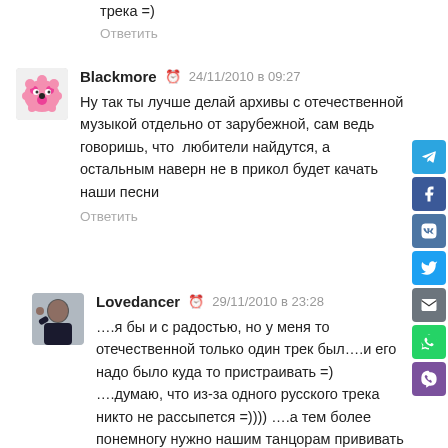трека =)
Ответить
Blackmore  24/11/2010 в 09:27
Ну так ты лучше делай архивы с отечественной музыкой отдельно от зарубежной, сам ведь говоришь, что  любители найдутся, а остальным наверн не в прикол будет качать  наши песни
Ответить
Lovedancer  29/11/2010 в 23:28
….я бы и с радостью, но у меня то отечественной только один трек был….и его надо было куда то пристраивать =) ….думаю, что из-за одного русского трека никто не рассыпется =)))) ….а тем более понемногу нужно нашим танцорам прививать любовь и к отечественной танцевальной музыке…я лично видел примеры отличных LA связок под русские треки, в которых одурительно